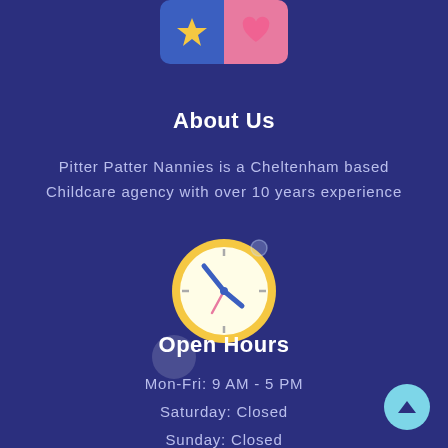[Figure (logo): Two icon boxes side by side: blue box with gold star, pink box with pink heart]
About Us
Pitter Patter Nannies is a Cheltenham based Childcare agency with over 10 years experience
[Figure (illustration): Clock icon with yellow outer ring, white face, blue hour and minute hands forming a V/checkmark, pink second hand, tick marks]
Open Hours
Mon-Fri: 9 AM - 5 PM
Saturday: Closed
Sunday: Closed